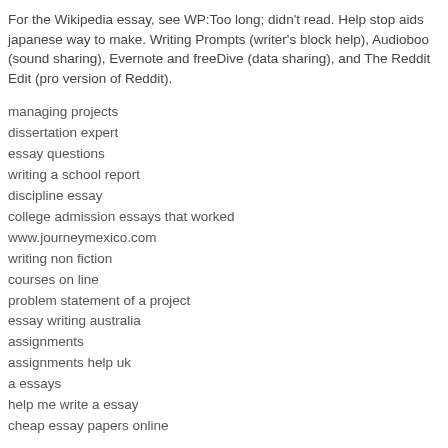For the Wikipedia essay, see WP:Too long; didn't read. Help stop aids japanese way to make. Writing Prompts (writer's block help), Audioboo (sound sharing), Evernote and freeDive (data sharing), and The Reddit Edit (pro version of Reddit).
managing projects
dissertation expert
essay questions
writing a school report
discipline essay
college admission essays that worked
www.journeymexico.com
writing non fiction
courses on line
problem statement of a project
essay writing australia
assignments
assignments help uk
a essays
help me write a essay
cheap essay papers online
JOIN OUR MAILING LIST
Email Address